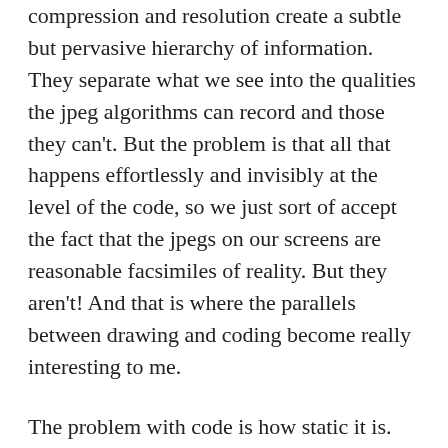compression and resolution create a subtle but pervasive hierarchy of information. They separate what we see into the qualities the jpeg algorithms can record and those they can't. But the problem is that all that happens effortlessly and invisibly at the level of the code, so we just sort of accept the fact that the jpegs on our screens are reasonable facsimiles of reality. But they aren't! And that is where the parallels between drawing and coding become really interesting to me.
The problem with code is how static it is. The algorithms are always the same; all jpegs contain the same kind of information. The surface is always the same and the structure is always hidden so they just feel interchangeable and disposable to me. And drawing feels like it does exactly the opposite thing. The great thing about drawing is that it can be algorithmic like code, but you can also change the rules whenever we